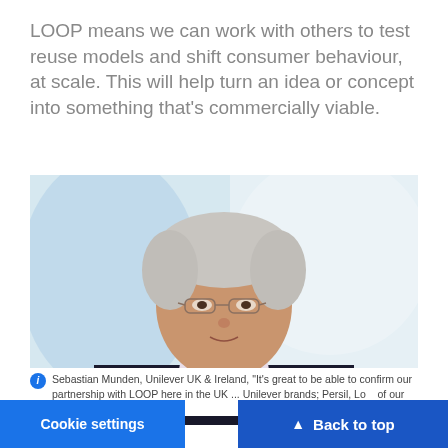LOOP means we can work with others to test reuse models and shift consumer behaviour, at scale. This will help turn an idea or concept into something that's commercially viable.
[Figure (photo): Professional headshot of Sebastian Munden, a middle-aged man with grey hair, glasses, wearing a dark blazer and light shirt, against a light blue background.]
Sebastian Munden, Unilever UK & Ireland, "It's great to be able to confirm our partnership with LOOP here in the UK ... Unilever brands; Persil, Lo... of our prestige brands RE... th...